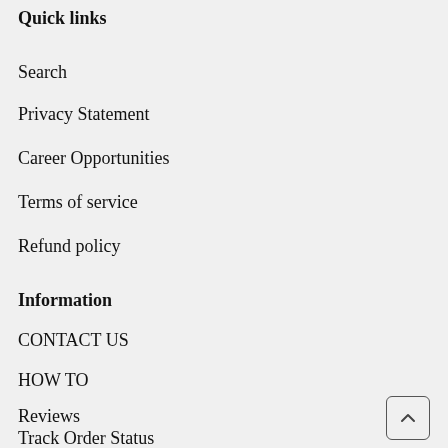Quick links
Search
Privacy Statement
Career Opportunities
Terms of service
Refund policy
Information
CONTACT US
HOW TO
Reviews
Track Order Status